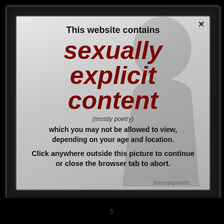[Figure (screenshot): A website age-gate modal dialog on a dark screen/monitor background. The modal contains a warning about sexually explicit content (mostly poetry) and instructions to click outside to continue or close the browser tab to abort. A silhouette of a person is visible in the background of the modal. A watermark reads www.therealgsmith.com.]
This website contains
sexually explicit content
(mostly poetry)
which you may not be allowed to view, depending on your age and location.
Click anywhere outside this picture to continue or close the browser tab to abort.
www.therealgsmith.com
5